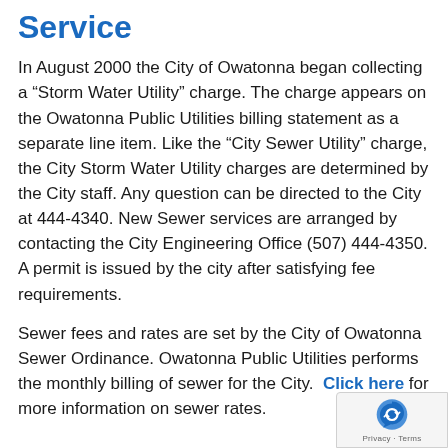Service
In August 2000 the City of Owatonna began collecting a “Storm Water Utility” charge. The charge appears on the Owatonna Public Utilities billing statement as a separate line item. Like the “City Sewer Utility” charge, the City Storm Water Utility charges are determined by the City staff. Any question can be directed to the City at 444-4340. New Sewer services are arranged by contacting the City Engineering Office (507) 444-4350. A permit is issued by the city after satisfying fee requirements.
Sewer fees and rates are set by the City of Owatonna Sewer Ordinance. Owatonna Public Utilities performs the monthly billing of sewer for the City. Click here for more information on sewer rates.